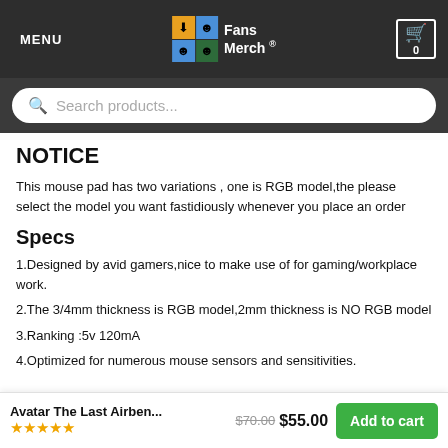MENU | Fans Merch ® | Cart 0
Search products...
NOTICE
This mouse pad has two variations , one is RGB model,the please select the model you want fastidiously whenever you place an order
Specs
1.Designed by avid gamers,nice to make use of for gaming/workplace work.
2.The 3/4mm thickness is RGB model,2mm thickness is NO RGB model
3.Ranking :5v 120mA
4.Optimized for numerous mouse sensors and sensitivities.
Avatar The Last Airben... $70.00 $55.00 Add to cart ★★★★★